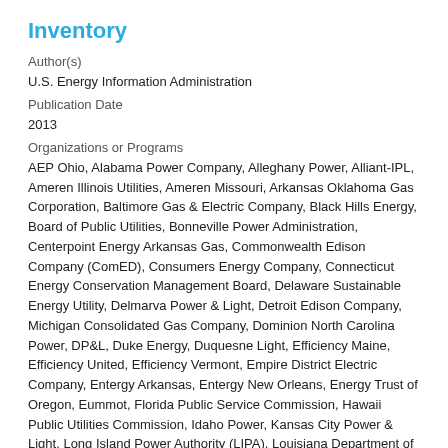Inventory
Author(s)
U.S. Energy Information Administration
Publication Date
2013
Organizations or Programs
AEP Ohio, Alabama Power Company, Alleghany Power, Alliant-IPL, Ameren Illinois Utilities, Ameren Missouri, Arkansas Oklahoma Gas Corporation, Baltimore Gas & Electric Company, Black Hills Energy, Board of Public Utilities, Bonneville Power Administration, Centerpoint Energy Arkansas Gas, Commonwealth Edison Company (ComED), Consumers Energy Company, Connecticut Energy Conservation Management Board, Delaware Sustainable Energy Utility, Delmarva Power & Light, Detroit Edison Company, Michigan Consolidated Gas Company, Dominion North Carolina Power, DP&L, Duke Energy, Duquesne Light, Efficiency Maine, Efficiency United, Efficiency Vermont, Empire District Electric Company, Entergy Arkansas, Entergy New Orleans, Energy Trust of Oregon, Eummot, Florida Public Service Commission, Hawaii Public Utilities Commission, Idaho Power, Kansas City Power & Light, Long Island Power Authority (LIPA), Louisiana Department of Natural Resources, NSTAR, National Grid, Massachusetts Cape Light Compact, Massachusetts Department Of Energy Resources, Massachusetts Energy Efficiency Advisory Council, Maryland Public Service Commission, Metropolitan Edison Company, Michigan Electric Cooperative Association, Mid-American Energy, Nevada Power